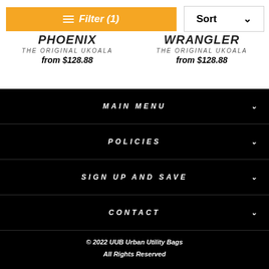Filter (1)
Sort
THE ORIGINAL UKOALA
from $128.88
THE ORIGINAL UKOALA
from $128.88
MAIN MENU
POLICIES
SIGN UP AND SAVE
CONTACT
© 2022 UUB Urban Utility Bags
All Rights Reserved